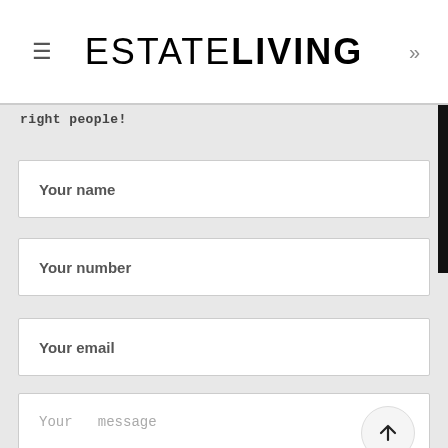ESTATE LIVING
right people!
Your name
Your number
Your email
Your message